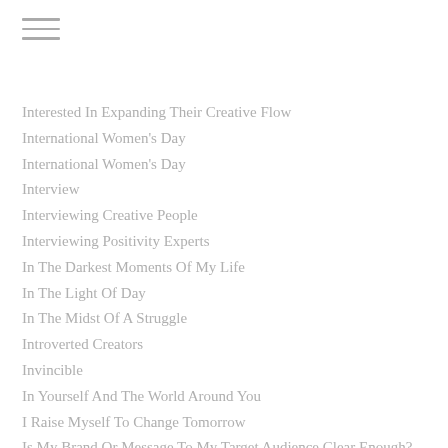Interested In Expanding Their Creative Flow
International Women's Day
International Women's Day
Interview
Interviewing Creative People
Interviewing Positivity Experts
In The Darkest Moments Of My Life
In The Light Of Day
In The Midst Of A Struggle
Introverted Creators
Invincible
In Yourself And The World Around You
I Raise Myself To Change Tomorrow
Is My Brand Or Message To My Target Audience Clear Enough?
Isolated
Italianate Architecture
Italianate Architecture Dating Back To The Late 1800s